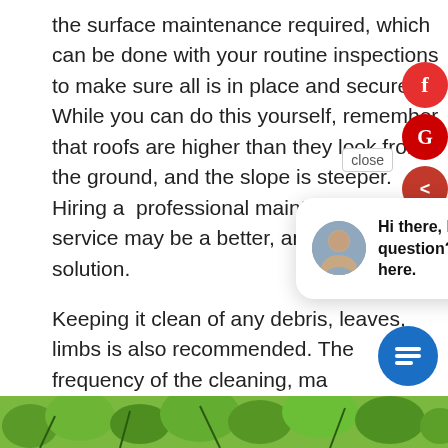the surface maintenance required, which can be done with your routine inspections to make sure all is in place and secured. While you can do this yourself, remember that roofs are higher than they look from the ground, and the slope is steeper. Hiring a professional maintenance service may be a better, and safer, solution.
Keeping it clean of any debris, leaves, limbs is also recommended. The frequency of the cleaning, may depend on the mild climate, every 18 months can go from one extreme to the next, or you have a lot of trees, once a year is recommended.
[Figure (photo): Bottom strip showing green foliage/trees from below]